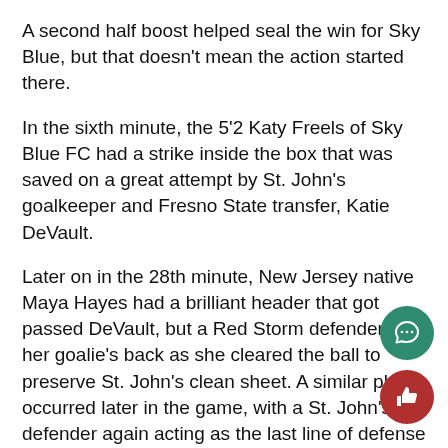A second half boost helped seal the win for Sky Blue, but that doesn't mean the action started there.
In the sixth minute, the 5'2 Katy Freels of Sky Blue FC had a strike inside the box that was saved on a great attempt by St. John's goalkeeper and Fresno State transfer, Katie DeVault.
Later on in the 28th minute, New Jersey native Maya Hayes had a brilliant header that got passed DeVault, but a Red Storm defender had her goalie's back as she cleared the ball to preserve St. John's clean sheet. A similar play occurred later in the game, with a St. John's defender again acting as the last line of defense to save a goal for the Red Sto
Although there was a lack of scoring at half with the score knotted at zero, Sky Blue commanded possession, not allowing St. John's to sniff the bal